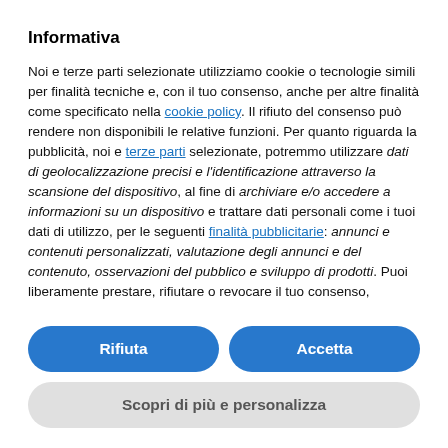Informativa
Noi e terze parti selezionate utilizziamo cookie o tecnologie simili per finalità tecniche e, con il tuo consenso, anche per altre finalità come specificato nella cookie policy. Il rifiuto del consenso può rendere non disponibili le relative funzioni. Per quanto riguarda la pubblicità, noi e terze parti selezionate, potremmo utilizzare dati di geolocalizzazione precisi e l'identificazione attraverso la scansione del dispositivo, al fine di archiviare e/o accedere a informazioni su un dispositivo e trattare dati personali come i tuoi dati di utilizzo, per le seguenti finalità pubblicitarie: annunci e contenuti personalizzati, valutazione degli annunci e del contenuto, osservazioni del pubblico e sviluppo di prodotti. Puoi liberamente prestare, rifiutare o revocare il tuo consenso,
Rifiuta
Accetta
Scopri di più e personalizza